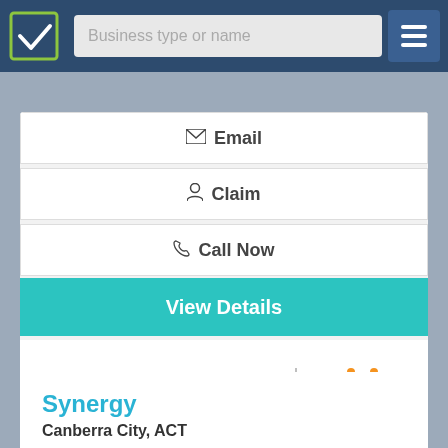Business type or name
Email
Claim
Call Now
View Details
[Figure (logo): Cosgrave Soutter Chartered Accountants & Business Advisors logo]
Synergy
Canberra City, ACT